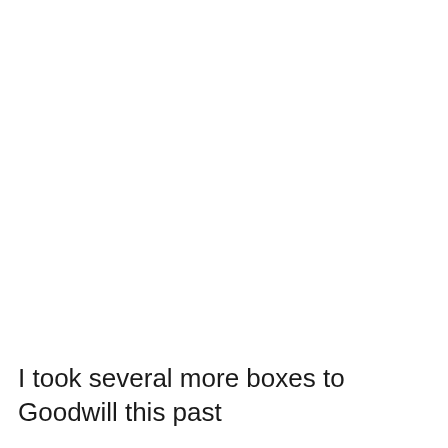I took several more boxes to Goodwill this past